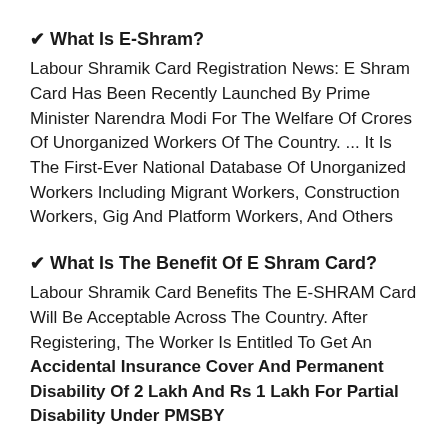✔ What Is E-Shram?
Labour Shramik Card Registration News: E Shram Card Has Been Recently Launched By Prime Minister Narendra Modi For The Welfare Of Crores Of Unorganized Workers Of The Country. ... It Is The First-Ever National Database Of Unorganized Workers Including Migrant Workers, Construction Workers, Gig And Platform Workers, And Others
✔ What Is The Benefit Of E Shram Card?
Labour Shramik Card Benefits The E-SHRAM Card Will Be Acceptable Across The Country. After Registering, The Worker Is Entitled To Get An Accidental Insurance Cover And Permanent Disability Of 2 Lakh And Rs 1 Lakh For Partial Disability Under PMSBY